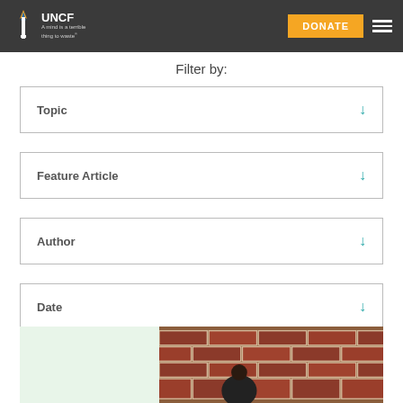UNCF — A mind is a terrible thing to waste
Filter by:
Topic
Feature Article
Author
Date
[Figure (photo): Bottom portion of page showing a person in front of a brick wall, with a light green background on the left side]